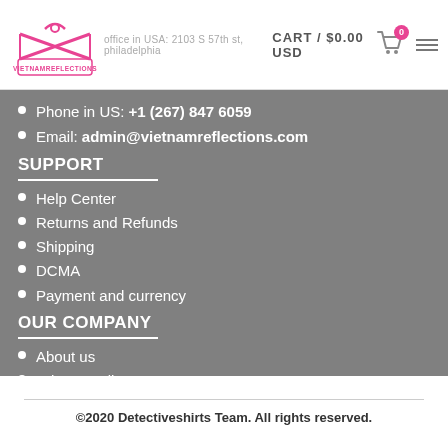CART / $0.00 USD
Phone in US: +1 (267) 847 6059
Email: admin@vietnamreflections.com
SUPPORT
Help Center
Returns and Refunds
Shipping
DCMA
Payment and currency
OUR COMPANY
About us
Privacy Policy
Terms of Service
Contact Us
©2020 Detectiveshirts Team. All rights reserved.